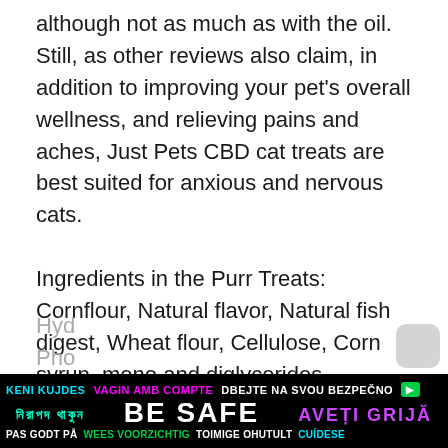although not as much as with the oil. Still, as other reviews also claim, in addition to improving your pet's overall wellness, and relieving pains and aches, Just Pets CBD cat treats are best suited for anxious and nervous cats.
Ingredients in the Purr Treats: Cornflour, Natural flavor, Natural fish digest, Wheat flour, Cellulose, Corn syrup, mono and diglycerides, Vitamins (vitamins A, D, K, and B12, Thiamine, Riboflavin Supplement, Pantothenic Acid, Niacin, Pyridoxine Hyd... Pho...
[Figure (other): BE SAFE public safety advertisement banner in multiple languages including English, Bengali, Romanian, Dutch, Swedish, Czech, and others on a black background.]